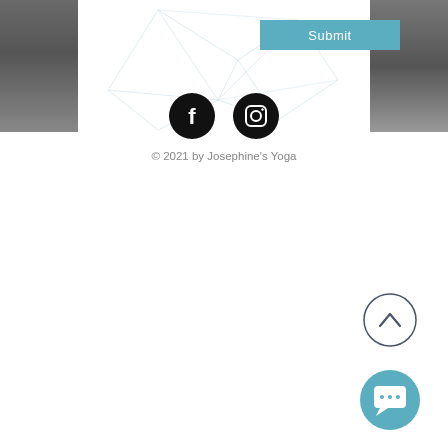[Figure (screenshot): Top banner area with left and right photo strips showing dark blurred images, and a light geometric polygon line pattern in the center white area]
[Figure (other): Teal/blue Submit button in the upper right portion of the banner]
[Figure (other): Two circular social media icons: Facebook (f) and Instagram (camera) both black circles with white icons]
© 2021 by Josephine's Yoga
[Figure (other): Circle outline back-to-top arrow button (chevron up) in lower right]
[Figure (other): Teal circle chat bubble icon button in lower right corner]